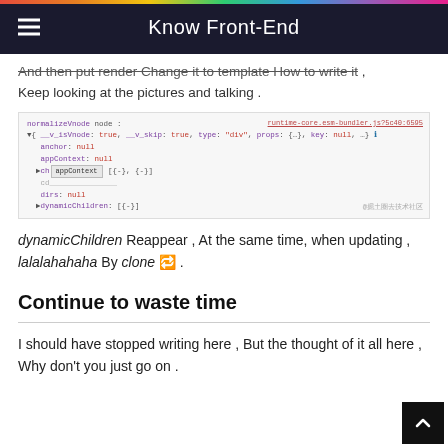Know Front-End
And then put render Change it to template How to write it , Keep looking at the pictures and talking .
[Figure (screenshot): Browser DevTools screenshot showing normalizeVnode node with properties: __v_isVnode: true, __v_skip: true, type: 'div', props: {…}, key: null with a tooltip showing 'appContext', anchor: null, appContext: null, children: [{…}], dirs: null, dynamicChildren: [{…}]. Link to runtime-core.esm-bundler.js?5c40:6595 in top right. Watermark @掘土圈去技术社区 in bottom right.]
dynamicChildren Reappear , At the same time, when updating , lalalahahaha By clone 🔁 .
Continue to waste time
I should have stopped writing here , But the thought of it all here , Why don't you just go on .